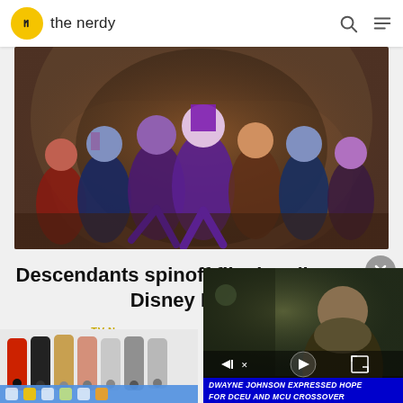the nerdy
[Figure (photo): Group of costumed characters from Descendants movie running toward camera in colorful villain outfits under an archway]
Descendants spinoff film heading to Disney Plus
TV N
[Figure (photo): Video player overlay showing Dwayne Johnson with caption: DWAYNE JOHNSON EXPRESSED HOPE FOR DCEU AND MCU CROSSOVER]
[Figure (photo): Row of iPhone models in various colors including red, black, gold, silver, gray]